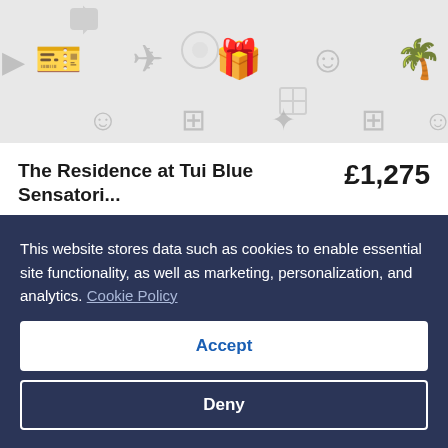[Figure (illustration): Gray placeholder image with travel-related icons (ticket, airplane, gift card, smiley face, palm tree, and other symbols) arranged in a grid pattern on a light gray background.]
The Residence at Tui Blue Sensatori... £1,275
★★★★★
per person
14 Oct - 19 Oct
Return flight included
London (LON) to Dalaman (DLM)
[Figure (photo): Partial view of a green foliage/garden scene, visible behind the cookie consent banner.]
This website stores data such as cookies to enable essential site functionality, as well as marketing, personalization, and analytics. Cookie Policy
Accept
Deny